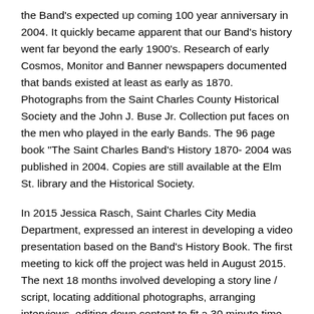the Band's expected up coming 100 year anniversary in 2004. It quickly became apparent that our Band's history went far beyond the early 1900's. Research of early Cosmos, Monitor and Banner newspapers documented that bands existed at least as early as 1870. Photographs from the Saint Charles County Historical Society and the John J. Buse Jr. Collection put faces on the men who played in the early Bands. The 96 page book "The Saint Charles Band's History 1870- 2004 was published in 2004. Copies are still available at the Elm St. library and the Historical Society.
In 2015 Jessica Rasch, Saint Charles City Media Department, expressed an interest in developing a video presentation based on the Band's History Book. The first meeting to kick off the project was held in August 2015. The next 18 months involved developing a story line / script, locating additional photographs, arranging interviews, editing down content to fit a 30 minute time frame and final editing for accuracy of the content.
The resulting video reveals the dedication, love of music and perseverance